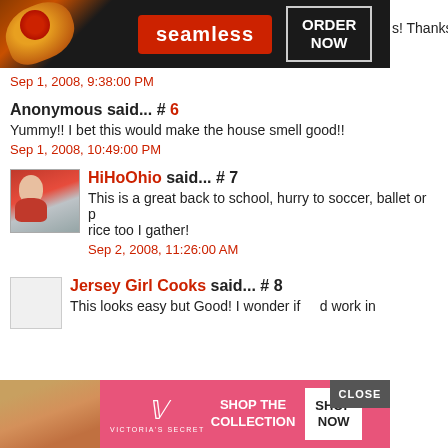[Figure (screenshot): Seamless food delivery advertisement banner with pizza image, red 'seamless' button, and 'ORDER NOW' box]
s! Thanks
Sep 1, 2008, 9:38:00 PM
Anonymous said... # 6
Yummy!! I bet this would make the house smell good!!
Sep 1, 2008, 10:49:00 PM
HiHoOhio said... # 7
[Figure (photo): Small avatar photo of HiHoOhio commenter]
This is a great back to school, hurry to soccer, ballet or p rice too I gather!
Sep 2, 2008, 11:26:00 AM
Jersey Girl Cooks said... # 8
[Figure (photo): Small avatar placeholder for Jersey Girl Cooks]
This looks easy but Good! I wonder if  d work in
[Figure (screenshot): Victoria's Secret advertisement banner with model photo, logo, 'SHOP THE COLLECTION' text, and 'SHOP NOW' button]